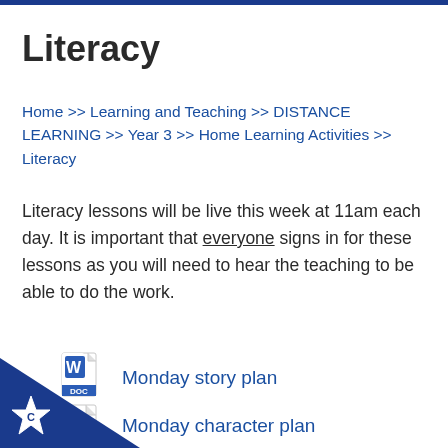Literacy
Home >> Learning and Teaching >> DISTANCE LEARNING >> Year 3 >> Home Learning Activities >> Literacy
Literacy lessons will be live this week at 11am each day. It is important that everyone signs in for these lessons as you will need to hear the teaching to be able to do the work.
Monday story plan
Monday character plan